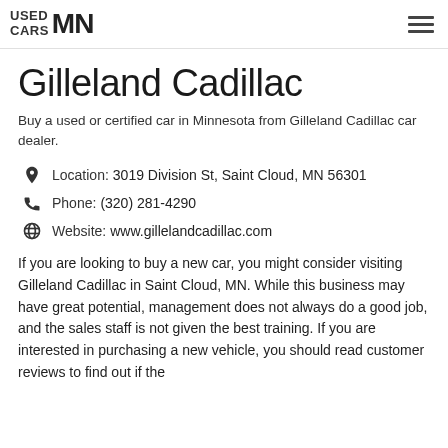USED CARS MN
Gilleland Cadillac
Buy a used or certified car in Minnesota from Gilleland Cadillac car dealer.
Location:  3019 Division St, Saint Cloud, MN 56301
Phone:  (320) 281-4290
Website:  www.gillelandcadillac.com
If you are looking to buy a new car, you might consider visiting Gilleland Cadillac in Saint Cloud, MN. While this business may have great potential, management does not always do a good job, and the sales staff is not given the best training. If you are interested in purchasing a new vehicle, you should read customer reviews to find out if the